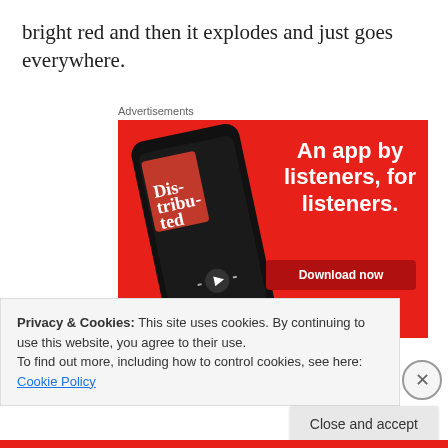bright red and then it explodes and just goes everywhere.
Advertisements
[Figure (illustration): Advertisement for a podcast app: red background with a smartphone showing a podcast episode called 'Distributed', with bold white text 'An app by listeners, for listeners.' and a 'Download now' button.]
Privacy & Cookies: This site uses cookies. By continuing to use this website, you agree to their use.
To find out more, including how to control cookies, see here: Cookie Policy
Close and accept